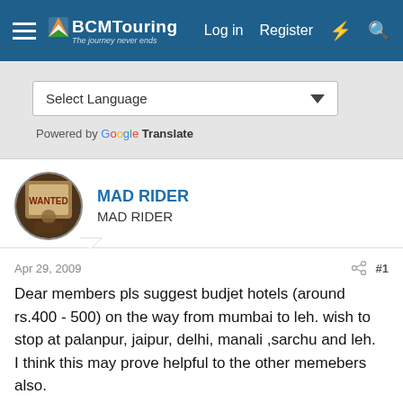BCMTouring | Log in | Register
Select Language — Powered by Google Translate
MAD RIDER
MAD RIDER
Apr 29, 2009   #1
Dear members pls suggest budjet hotels (around rs.400 - 500) on the way from mumbai to leh. wish to stop at palanpur, jaipur, delhi, manali ,sarchu and leh.
I think this may prove helpful to the other memebers also.
If possilbo addresses for the bike mechanics also.